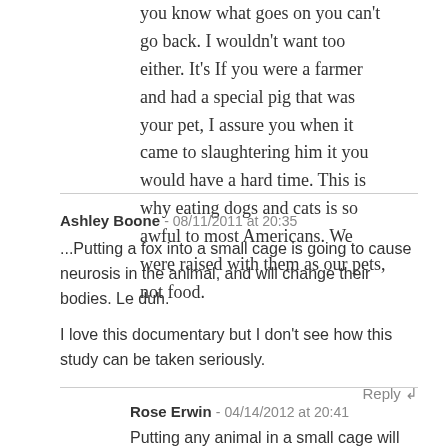you know what goes on you can't go back. I wouldn't want too either. It's If you were a farmer and had a special pig that was your pet, I assure you when it came to slaughtering him it you would have a hard time. This is why eating dogs and cats is so awful to most Americans. We were raised with them as our pets, not food.
Ashley Boone - 08/11/2011 at 20:35
...Putting a fox into a small cage is going to cause neurosis in the animal, and will change their bodies. Le duh.

I love this documentary but I don't see how this study can be taken seriously.
Reply ↲
Rose Erwin - 04/14/2012 at 20:41
Putting any animal in a small cage will cause